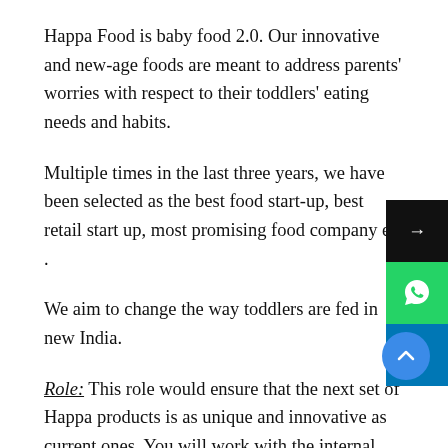Happa Food is baby food 2.0. Our innovative and new-age foods are meant to address parents' worries with respect to their toddlers' eating needs and habits.
Multiple times in the last three years, we have been selected as the best food start-up, best retail start up, most promising food company etc .
We aim to change the way toddlers are fed in new India.
Role: This role would ensure that the next set of Happa products is as unique and innovative as current ones. You will work with the internal team,